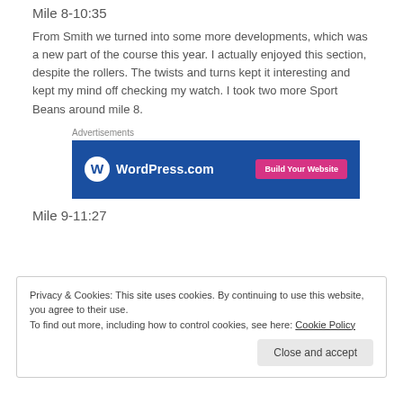Mile 8-10:35
From Smith we turned into some more developments, which was a new part of the course this year. I actually enjoyed this section, despite the rollers. The twists and turns kept it interesting and kept my mind off checking my watch. I took two more Sport Beans around mile 8.
[Figure (other): WordPress.com advertisement banner with blue background, WordPress logo on left, and pink 'Build Your Website' button on right]
Mile 9-11:27
Privacy & Cookies: This site uses cookies. By continuing to use this website, you agree to their use.
To find out more, including how to control cookies, see here: Cookie Policy